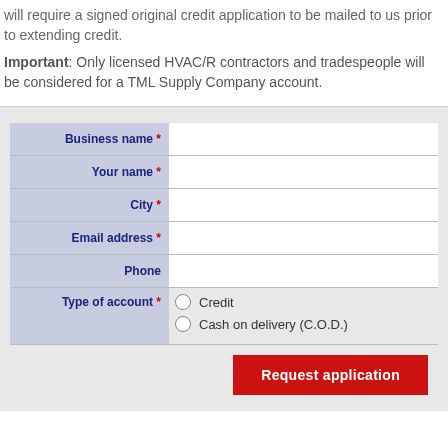will require a signed original credit application to be mailed to us prior to extending credit.
Important: Only licensed HVAC/R contractors and tradespeople will be considered for a TML Supply Company account.
| Field | Input |
| --- | --- |
| Business name * |  |
| Your name * |  |
| City * |  |
| Email address * |  |
| Phone |  |
| Type of account * | Credit / Cash on delivery (C.O.D.) |